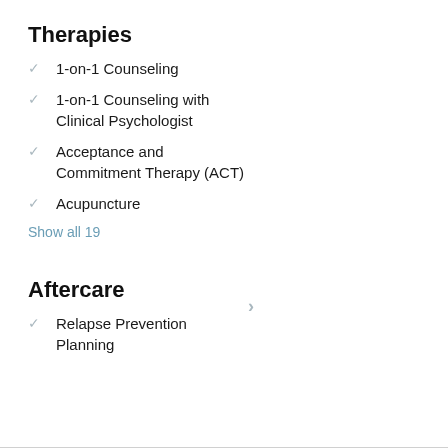Therapies
1-on-1 Counseling
1-on-1 Counseling with Clinical Psychologist
Acceptance and Commitment Therapy (ACT)
Acupuncture
Show all 19
Aftercare
Relapse Prevention Planning